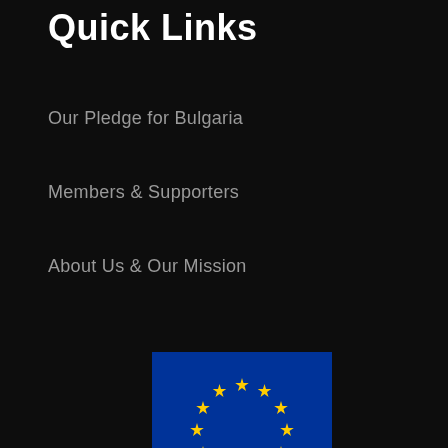Quick Links
Our Pledge for Bulgaria
Members & Supporters
About Us & Our Mission
[Figure (logo): Bulgarian Regional Development Fund logo: EU flag (blue background with 12 yellow stars in a circle) above white panel with text 'BULGARIAN REGIONAL DEVELOPMENT FUND' in bold black.]